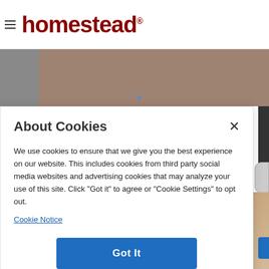homestead®
[Figure (screenshot): Website banner image with gray and brownish-tan sections, small blue dot near center bottom]
About Cookies
We use cookies to ensure that we give you the best experience on our website. This includes cookies from third party social media websites and advertising cookies that may analyze your use of this site. Click "Got it" to agree or "Cookie Settings" to opt out.
Cookie Notice
Got It
Cookies Settings